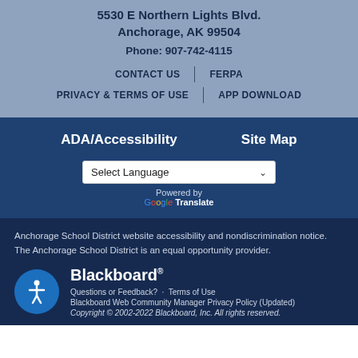5530 E Northern Lights Blvd.
Anchorage, AK 99504
Phone: 907-742-4115
CONTACT US | FERPA
PRIVACY & TERMS OF USE | APP DOWNLOAD
ADA/Accessibility   Site Map
Select Language
Powered by Google Translate
Anchorage School District website accessibility and nondiscrimination notice. The Anchorage School District is an equal opportunity provider.
Blackboard
Questions or Feedback? · Terms of Use
Blackboard Web Community Manager Privacy Policy (Updated)
Copyright © 2002-2022 Blackboard, Inc. All rights reserved.